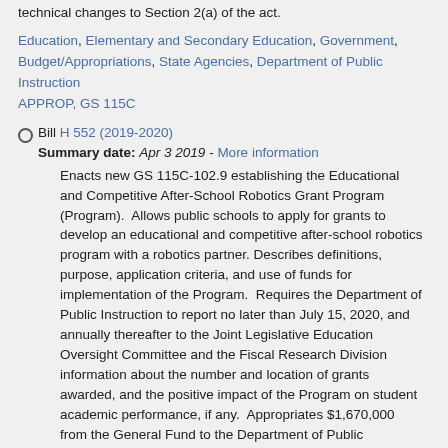technical changes to Section 2(a) of the act.
Education, Elementary and Secondary Education, Government, Budget/Appropriations, State Agencies, Department of Public Instruction
APPROP, GS 115C
Bill H 552 (2019-2020)
Summary date: Apr 3 2019 - More information
Enacts new GS 115C-102.9 establishing the Educational and Competitive After-School Robotics Grant Program (Program). Allows public schools to apply for grants to develop an educational and competitive after-school robotics program with a robotics partner. Describes definitions, purpose, application criteria, and use of funds for implementation of the Program. Requires the Department of Public Instruction to report no later than July 15, 2020, and annually thereafter to the Joint Legislative Education Oversight Committee and the Fiscal Research Division information about the number and location of grants awarded, and the positive impact of the Program on student academic performance, if any. Appropriates $1,670,000 from the General Fund to the Department of Public Instruction in recurring funds for the 2019-20 fiscal year to implement the Program, beginning in the 2019-20 school